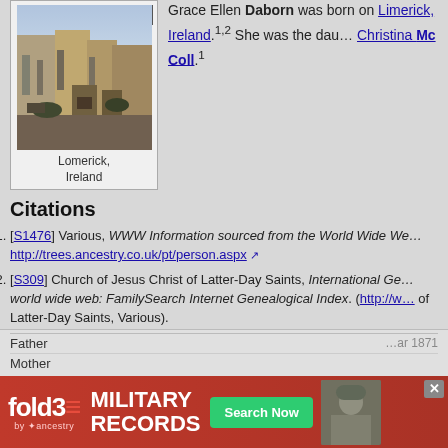Grace Ellen Daborn was born on Limerick, Ireland.1,2 She was the daughter of Christina Mc Coll.1
[Figure (photo): Historical street scene photo of Lomerick, Ireland]
Lomerick, Ireland
Citations
[S1476] Various, WWW Information sourced from the World Wide Web. http://trees.ancestry.co.uk/pt/person.aspx
[S309] Church of Jesus Christ of Latter-Day Saints, International Genealogical Index on the world wide web: FamilySearch Internet Genealogical Index. (http://w... of Latter-Day Saints, Various).
Helen Daborn1
F, #21576, b. 26 September 1901
Pop-up Pedigree
Father ... ar 1871
Mother